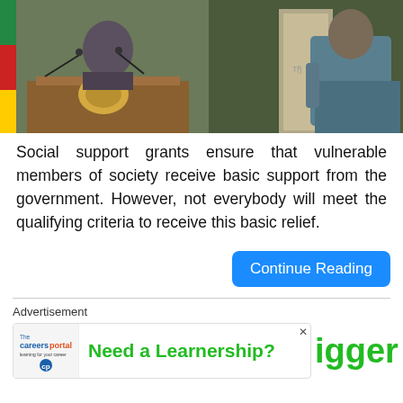[Figure (photo): Two photos side by side: left shows a person in camouflage jacket speaking at a podium with microphones and a South African flag; right shows a person crouching near a stone pillar wearing a blue/teal hoodie.]
Social support grants ensure that vulnerable members of society receive basic support from the government. However, not everybody will meet the qualifying criteria to receive this basic relief.
Continue Reading
Advertisement
[Figure (screenshot): Advertisement banner from CareersPortal showing 'Need a Learnership?' in green bold text with the careers portal logo on the left. Partially overlapped by 'igger' text in green on the right side.]